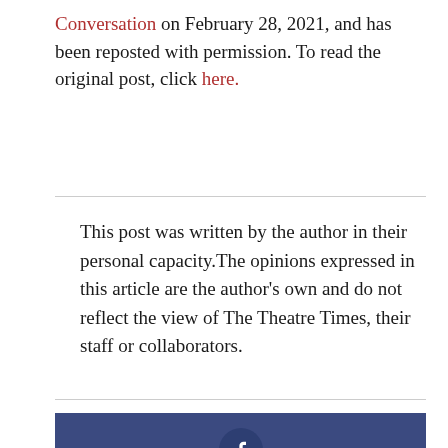Conversation on February 28, 2021, and has been reposted with permission. To read the original post, click here.
This post was written by the author in their personal capacity.The opinions expressed in this article are the author's own and do not reflect the view of The Theatre Times, their staff or collaborators.
[Figure (infographic): Social share buttons: Facebook (dark blue), Twitter (light blue), Google+ (red), each with centered circular icon]